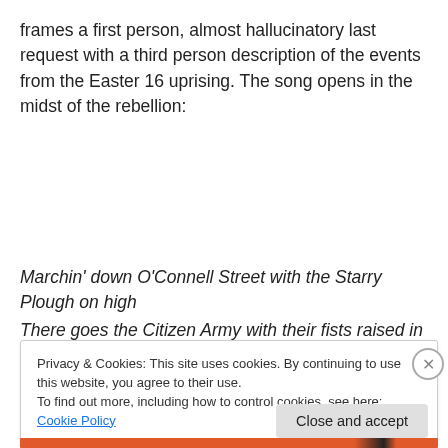frames a first person, almost hallucinatory last request with a third person description of the events from the Easter 16 uprising. The song opens in the midst of the rebellion:
Marchin' down O'Connell Street with the Starry Plough on high
There goes the Citizen Army with their fists raised in the sky
Leading them is a mighty man with a mad rage in his eye
Privacy & Cookies: This site uses cookies. By continuing to use this website, you agree to their use.
To find out more, including how to control cookies, see here: Cookie Policy